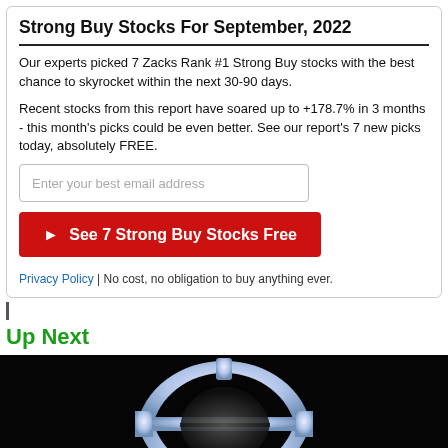Strong Buy Stocks For September, 2022
Our experts picked 7 Zacks Rank #1 Strong Buy stocks with the best chance to skyrocket within the next 30-90 days.
Recent stocks from this report have soared up to +178.7% in 3 months - this month's picks could be even better. See our report's 7 new picks today, absolutely FREE.
[Figure (other): Email input field with placeholder 'Enter your best email address']
[Figure (other): Red CTA button: ► See 7 Strong Buy Stocks Free]
Privacy Policy | No cost, no obligation to buy anything ever.
Up Next
[Figure (photo): Dark background image with a glowing illuminated dollar sign symbol in the center]